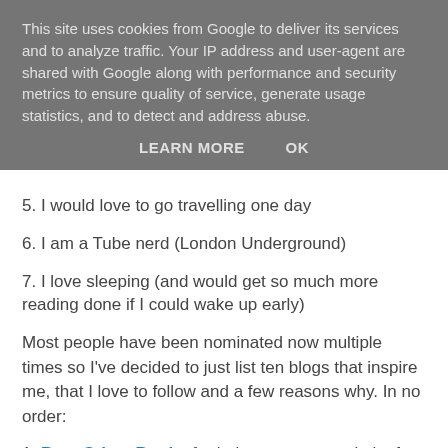This site uses cookies from Google to deliver its services and to analyze traffic. Your IP address and user-agent are shared with Google along with performance and security metrics to ensure quality of service, generate usage statistics, and to detect and address abuse.
LEARN MORE    OK
5. I would love to go travelling one day
6. I am a Tube nerd (London Underground)
7. I love sleeping (and would get so much more reading done if I could wake up early)
Most people have been nominated now multiple times so I've decided to just list ten blogs that inspire me, that I love to follow and a few reasons why. In no order:
1. Best Crime Books for being my go to website for crime recommendations. Brilliant reviews and honest too, if a book is crap then she will say so! Also a huge Kimberley